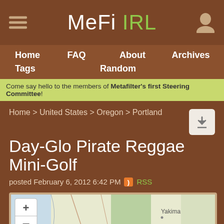MeFi IRL
Home
FAQ
About
Archives
Tags
Random
Come say hello to the members of Metafilter's first Steering Committee!
Home > United States > Oregon > Portland
Day-Glo Pirate Reggae Mini-Golf
posted February 6, 2012 6:42 PM  RSS
[Figure (map): Map showing Portland, Oregon area with a blue location pin marker on Portland. Shows surrounding geography including Salem to the south, Yakima and Kennewick to the east. Map zoom controls (+/-) visible in upper left.]